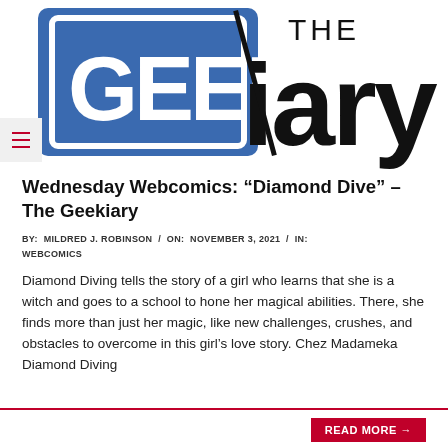[Figure (logo): The Geekiary logo: blue rectangle with GEEK text inside and 'iary' in large black serif letters with 'THE' above]
Wednesday Webcomics: “Diamond Dive” – The Geekiary
BY: MILDRED J. ROBINSON / ON: NOVEMBER 3, 2021 / IN: WEBCOMICS
Diamond Diving tells the story of a girl who learns that she is a witch and goes to a school to hone her magical abilities. There, she finds more than just her magic, like new challenges, crushes, and obstacles to overcome in this girl’s love story. Chez Madameka Diamond Diving